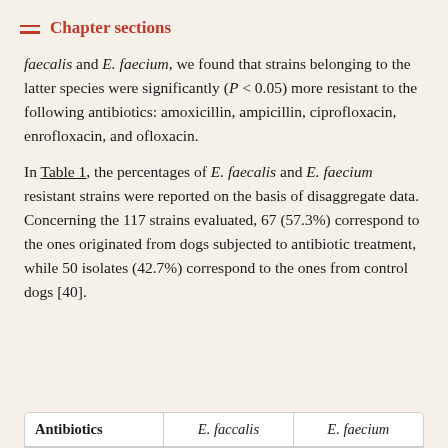Chapter sections
faecalis and E. faecium, we found that strains belonging to the latter species were significantly (P < 0.05) more resistant to the following antibiotics: amoxicillin, ampicillin, ciprofloxacin, enrofloxacin, and ofloxacin.
In Table 1, the percentages of E. faecalis and E. faecium resistant strains were reported on the basis of disaggregate data. Concerning the 117 strains evaluated, 67 (57.3%) correspond to the ones originated from dogs subjected to antibiotic treatment, while 50 isolates (42.7%) correspond to the ones from control dogs [40].
| Antibiotics | E. faccalis | E. faecium |
| --- | --- | --- |